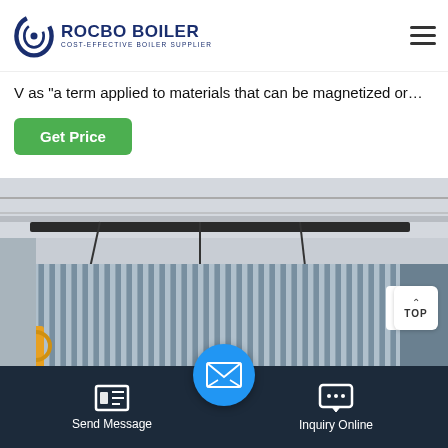[Figure (logo): Rocbo Boiler logo with tagline 'Cost-Effective Boiler Supplier']
V as "a term applied to materials that can be magnetized or...
Get Price
[Figure (photo): Industrial boiler with corrugated metal casing in a factory setting]
Send Message
Inquiry Online